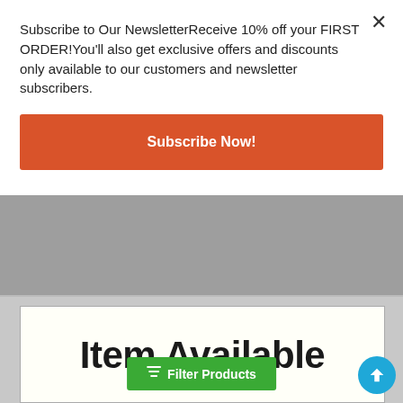Subscribe to Our NewsletterReceive 10% off your FIRST ORDER!You'll also get exclusive offers and discounts only available to our customers and newsletter subscribers.
× (close button)
Subscribe Now!
[Figure (screenshot): Product placeholder image showing 'Item Available' in bold and 'Please refer to Category Image for' in large italic/bold text on a white background]
≡ Filter Products
↑ (scroll to top button)